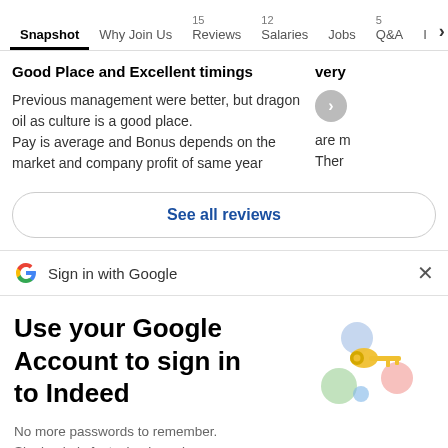Snapshot | Why Join Us | 15 Reviews | 12 Salaries | Jobs | 5 Q&A | I >
Good Place and Excellent timings
Previous management were better, but dragon oil as culture is a good place.
Pay is average and Bonus depends on the market and company profit of same year
very
See all reviews
Sign in with Google
Use your Google Account to sign in to Indeed
No more passwords to remember.
Signing in is fast, simple and secure.